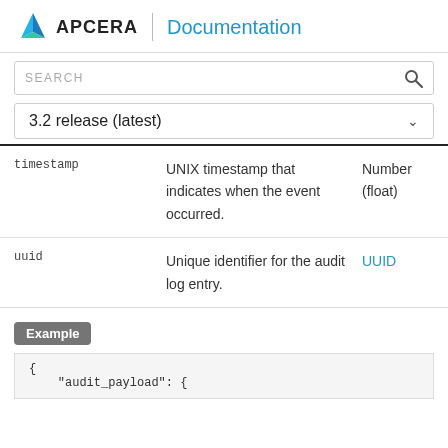APCERA Documentation
SEARCH
3.2 release (latest)
| Field | Description | Type |
| --- | --- | --- |
| timestamp | UNIX timestamp that indicates when the event occurred. | Number (float) |
| uuid | Unique identifier for the audit log entry. | UUID |
Example
{
    "audit_payload": {